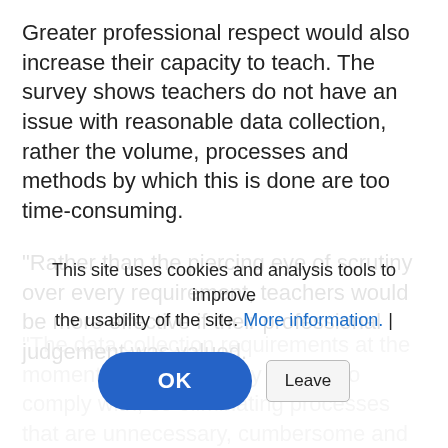Greater professional respect would also increase their capacity to teach. The survey shows teachers do not have an issue with reasonable data collection, rather the volume, processes and methods by which this is done are too time-consuming.
"Rather than the piercing eye of scrutiny over every requirement, teachers would be more effective if their professional judgement was valued.
"The data collection requirements at the moment are increasingly difficult to comply with, so eliminating processes that are unnecessary, cumbersome and time-consuming would set the sector on the right trajectory."
This site uses cookies and analysis tools to improve the usability of the site. More information. | [OK] [Leave]